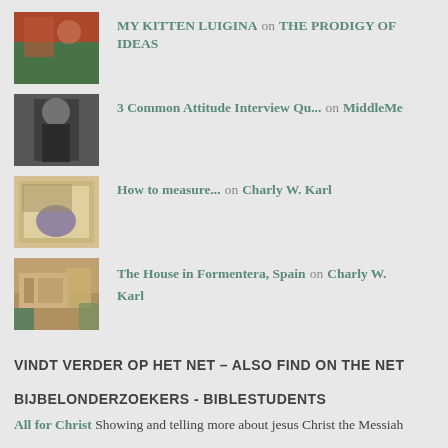[Figure (photo): Thumbnail image of a kitten/cat outdoors with plants]
MY KITTEN LUIGINA on THE PRODIGY OF IDEAS
[Figure (photo): Thumbnail image of a person in dark clothing]
3 Common Attitude Interview Qu... on MiddleMe
[Figure (photo): Thumbnail image of a book or document cover]
How to measure... on Charly W. Karl
[Figure (photo): Thumbnail image of a house in Formentera, Spain]
The House in Formentera, Spain on Charly W. Karl
VINDT VERDER OP HET NET – ALSO FIND ON THE NET
BIJBELONDERZOEKERS - BIBLESTUDENTS
All for Christ Showing and telling more about jesus Christ the Messiah